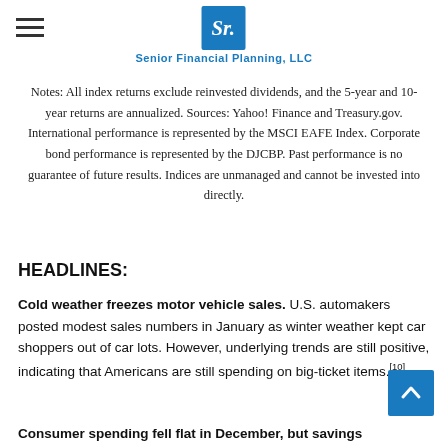Senior Financial Planning, LLC
Notes: All index returns exclude reinvested dividends, and the 5-year and 10-year returns are annualized. Sources: Yahoo! Finance and Treasury.gov. International performance is represented by the MSCI EAFE Index. Corporate bond performance is represented by the DJCBP. Past performance is no guarantee of future results. Indices are unmanaged and cannot be invested into directly.
HEADLINES:
Cold weather freezes motor vehicle sales. U.S. automakers posted modest sales numbers in January as winter weather kept car shoppers out of car lots. However, underlying trends are still positive, indicating that Americans are still spending on big-ticket items.[10]
Consumer spending fell flat in December, but savings